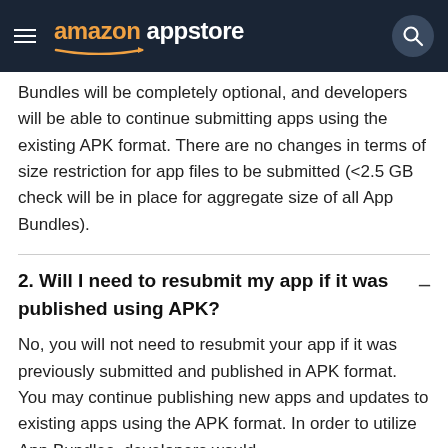amazon appstore
Bundles will be completely optional, and developers will be able to continue submitting apps using the existing APK format. There are no changes in terms of size restriction for app files to be submitted (<2.5 GB check will be in place for aggregate size of all App Bundles).
2. Will I need to resubmit my app if it was published using APK?
No, you will not need to resubmit your app if it was previously submitted and publishing in APK format. You may continue publishing new apps and updates to existing apps using the APK format. In order to utilize App Bundles, developers would